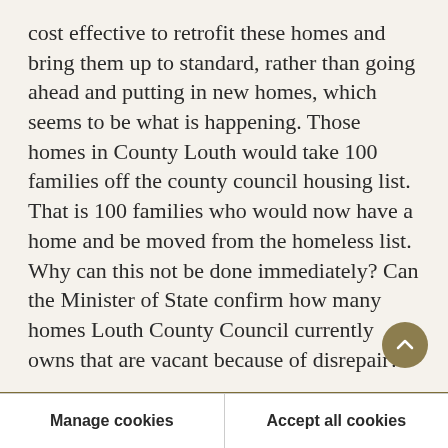cost effective to retrofit these homes and bring them up to standard, rather than going ahead and putting in new homes, which seems to be what is happening. Those homes in County Louth would take 100 families off the county council housing list. That is 100 families who would now have a home and be moved from the homeless list. Why can this not be done immediately? Can the Minister of State confirm how many homes Louth County Council currently owns that are vacant because of disrepair?
Cookies on oireachtas.ie
We use cookies to ensure our website works well. We'd like to use analytics and functionality cookies to help us improve it but we require your consent to do so. If you don't consent, only necessary cookies will be used. Read more about our cookies
Manage cookies
Accept all cookies